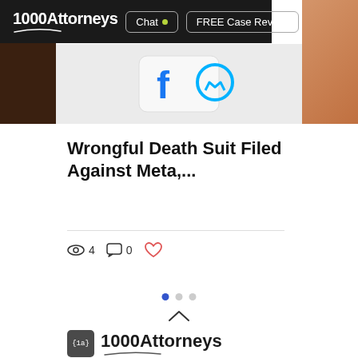1000Attorneys | Chat | FREE Case Review
[Figure (screenshot): Partial image showing a phone case with blue Facebook logo icons on white background, flanked by dark left strip and warm-toned right strip]
Wrongful Death Suit Filed Against Meta,...
4 views  0 comments  Like
[Figure (other): Pagination dots: one active blue dot followed by two inactive grey dots]
[Figure (other): Chevron up arrow icon]
[Figure (logo): 1000Attorneys logo with {1a} badge icon and stylized text]
California State Bar Certified